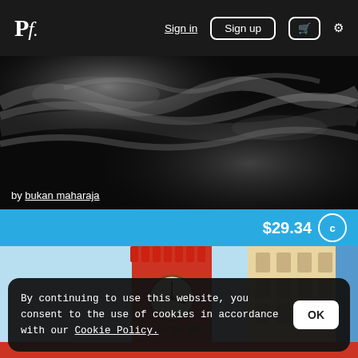Pf. | Sign in | Sign up | Cart | Settings
[Figure (photo): Black and white wavy abstract texture image]
by bukan maharaja
$29.34 C
[Figure (photo): Colorful photograph of a red ornate clock tower (Pena Palace style) against a blue sky, with decorated building facade on the right]
By continuing to use this website, you consent to the use of cookies in accordance with our Cookie Policy.